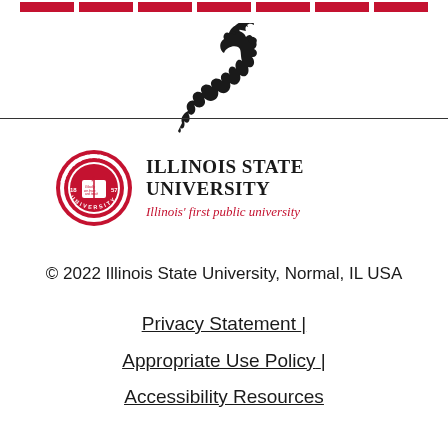[Figure (illustration): Red horizontal strip bars at the top of the page]
[Figure (illustration): Black silhouette of a cardinal bird facing right]
[Figure (logo): Illinois State University circular seal/logo in red and white]
ILLINOIS STATE UNIVERSITY
Illinois' first public university
© 2022 Illinois State University, Normal, IL USA
Privacy Statement |
Appropriate Use Policy |
Accessibility Resources